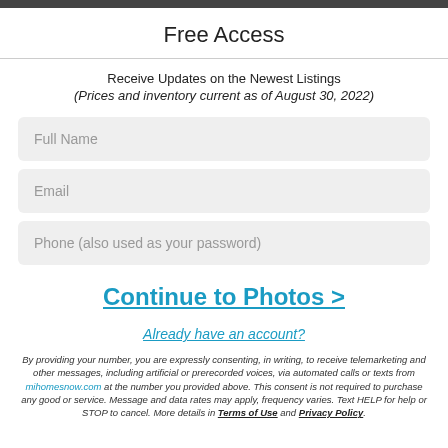Free Access
Receive Updates on the Newest Listings
(Prices and inventory current as of August 30, 2022)
Full Name
Email
Phone (also used as your password)
Continue to Photos >
Already have an account?
By providing your number, you are expressly consenting, in writing, to receive telemarketing and other messages, including artificial or prerecorded voices, via automated calls or texts from mihomesnow.com at the number you provided above. This consent is not required to purchase any good or service. Message and data rates may apply, frequency varies. Text HELP for help or STOP to cancel. More details in Terms of Use and Privacy Policy.